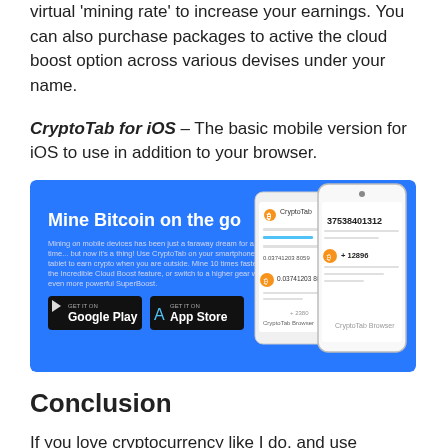virtual 'mining rate' to increase your earnings. You can also purchase packages to active the cloud boost option across various devises under your name.
CryptoTab for iOS – The basic mobile version for iOS to use in addition to your browser.
[Figure (screenshot): CryptoTab promotional banner with blue background. Title: 'Mine Bitcoin on the go'. Body text about mining on mobile devices. Google Play and App Store buttons. Shows smartphone screens with CryptoTab app UI including bitcoin balance 0.03741203 8059 and other figures.]
Conclusion
If you love cryptocurrency like I do, and use